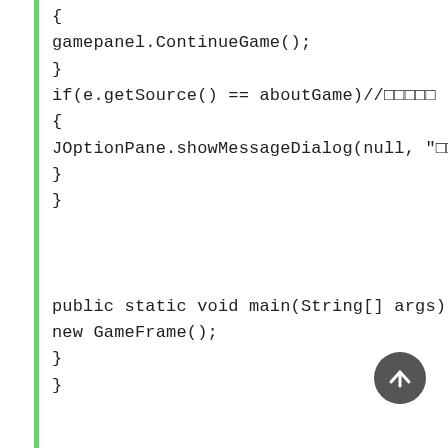[Figure (other): Code block showing Java source code with green vertical bar on the left side]